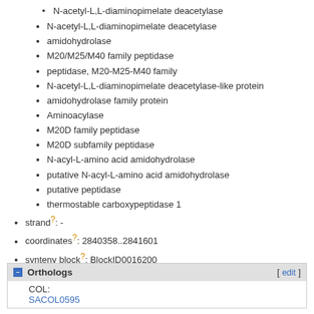N-acetyl-L,L-diaminopimelate deacetylase
amidohydrolase
M20/M25/M40 family peptidase
peptidase, M20-M25-M40 family
N-acetyl-L,L-diaminopimelate deacetylase-like protein
amidohydrolase family protein
Aminoacylase
M20D family peptidase
M20D subfamily peptidase
N-acyl-L-amino acid amidohydrolase
putative N-acyl-L-amino acid amidohydrolase
putative peptidase
thermostable carboxypeptidase 1
strand?: -
coordinates?: 2840358..2841601
synteny block?: BlockID0016200
occurrence?: in 100% of 33 strains
Orthologs
COL:
SACOL0595